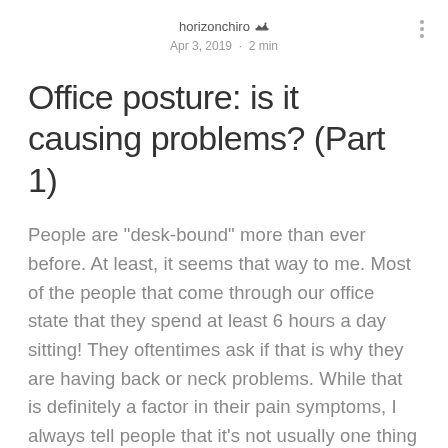horizonchiro · Apr 3, 2019 · 2 min
Office posture: is it causing problems? (Part 1)
People are "desk-bound" more than ever before. At least, it seems that way to me. Most of the people that come through our office state that they spend at least 6 hours a day sitting! They oftentimes ask if that is why they are having back or neck problems. While that is definitely a factor in their pain symptoms, I always tell people that it's not usually one thing we do, but a combination of different things that